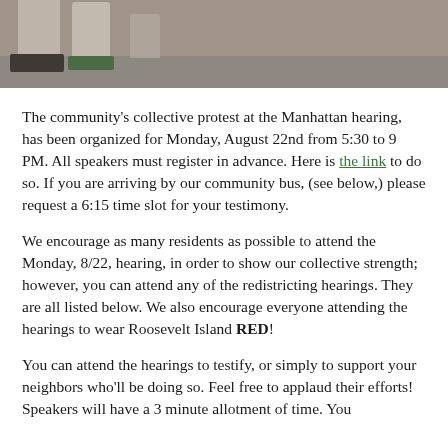[Figure (photo): Bottom portion of a photo showing people's legs and feet on pavement, partially cropped at top of page]
The community's collective protest at the Manhattan hearing, has been organized for Monday, August 22nd from 5:30 to 9 PM. All speakers must register in advance. Here is the link to do so. If you are arriving by our community bus, (see below,) please request a 6:15 time slot for your testimony.
We encourage as many residents as possible to attend the Monday, 8/22, hearing, in order to show our collective strength; however, you can attend any of the redistricting hearings. They are all listed below. We also encourage everyone attending the hearings to wear Roosevelt Island RED!
You can attend the hearings to testify, or simply to support your neighbors who'll be doing so. Feel free to applaud their efforts! Speakers will have a 3 minute allotment of time. You